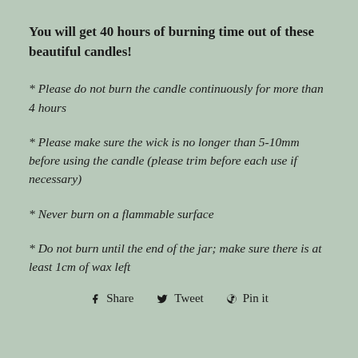You will get 40 hours of burning time out of these beautiful candles!
* Please do not burn the candle continuously for more than 4 hours
* Please make sure the wick is no longer than 5-10mm before using the candle (please trim before each use if necessary)
* Never burn on a flammable surface
* Do not burn until the end of the jar; make sure there is at least 1cm of wax left
Share  Tweet  Pin it